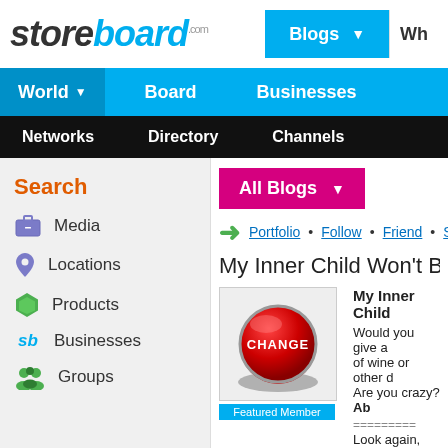[Figure (screenshot): Storeboard.com website logo — 'store' in dark italic, 'board' in cyan italic, '.com' superscript]
[Figure (screenshot): Blue 'Blogs' dropdown button with down arrow]
Wh
World ▼   Board   Businesses
Networks   Directory   Channels
Search
Media
Locations
Products
Businesses
Groups
[Figure (screenshot): Pink/magenta 'All Blogs' dropdown button with down arrow]
Portfolio • Follow • Friend • Sh
My Inner Child Won't Be
[Figure (photo): Red button with white 'CHANGE' text label]
Featured Member
My Inner Child Would you give a of wine or other d Are you crazy? Ab ======== Look again, beca
Giving a substance to a hurting child